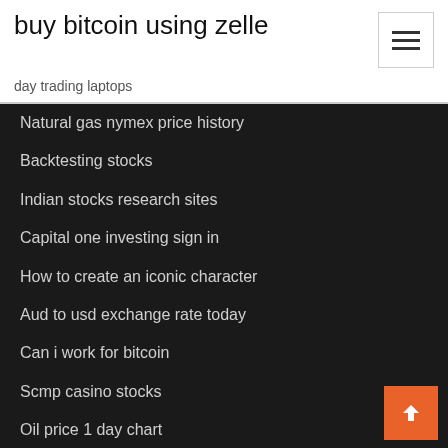buy bitcoin using zelle
day trading laptops
Natural gas nymex price history
Backtesting stocks
Indian stocks research sites
Capital one investing sign in
How to create an iconic character
Aud to usd exchange rate today
Can i work for bitcoin
Scmp casino stocks
Oil price 1 day chart